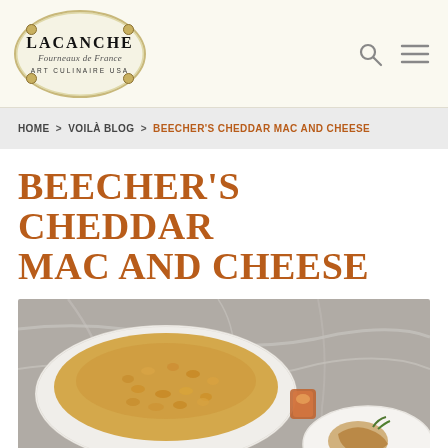[Figure (logo): Lacanche oval logo with screws, script text 'Fourneaux de France', and 'ART CULINAIRE USA' below]
HOME > VOILÀ BLOG > BEECHER'S CHEDDAR MAC AND CHEESE
BEECHER'S CHEDDAR MAC AND CHEESE
[Figure (photo): Overhead photo of mac and cheese in a white oval baking dish on a marble surface, with a small orange candle glass and a plate with food in the foreground]